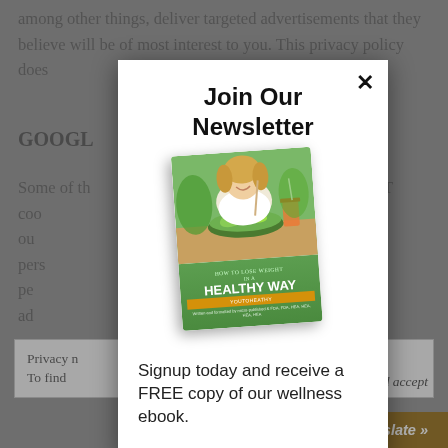among other things, deliver targeted advertisements that they believe will be of most interest to you. This privacy policy does not cover the use of cookies by advertisers.
GOOGLE
Some of the advertising on our site involves Google's use of the DART cookie, which enables ads to be served based on their visit to our sites and other sites on the Internet. DART uses "non personal identification information" and does NOT track personal information about you such as your name, email address, and so on. Users may opt out of the
Privacy notice: By continuing to use this website ... Cookie Policy
[Figure (screenshot): Modal popup with newsletter signup. Title: 'Join Our Newsletter'. Shows book cover 'How to Lose Weight in a Healthy Way' by YoutohHealthy. Text: 'Signup today and receive a FREE copy of our wellness ebook.' Close button (X) in top right.]
Signup today and receive a FREE copy of our wellness ebook.
close and accept
Translate »